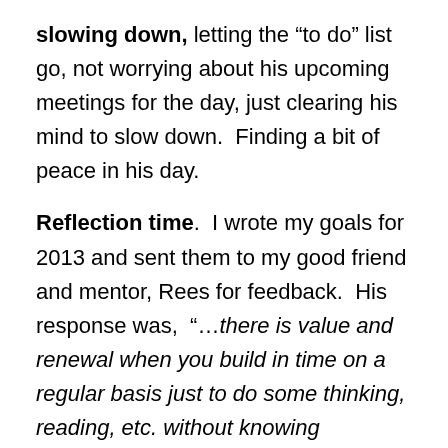slowing down, letting the “to do” list go, not worrying about his upcoming meetings for the day, just clearing his mind to slow down.  Finding a bit of peace in his day.
Reflection time.  I wrote my goals for 2013 and sent them to my good friend and mentor, Rees for feedback.  His response was,  “…there is value and renewal when you build in time on a regular basis just to do some thinking, reading, etc. without knowing specifically where it will lead you”.
Hmm…… time with no purpose.  Very powerful.